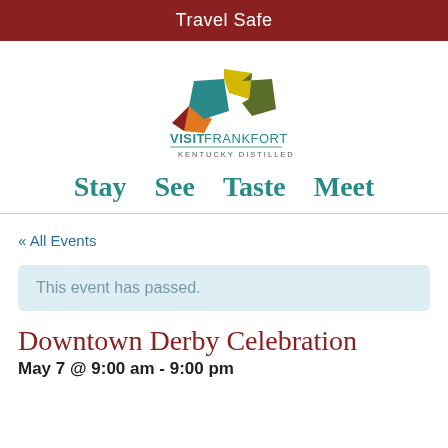Travel Safe
[Figure (logo): Visit Frankfort Kentucky Distilled logo with colorful geometric shapes representing Kentucky state]
Stay   See   Taste   Meet
« All Events
This event has passed.
Downtown Derby Celebration
May 7 @ 9:00 am - 9:00 pm